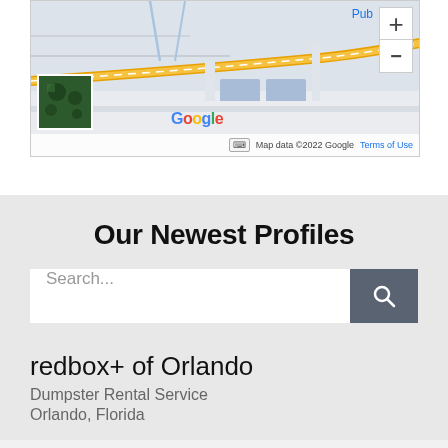[Figure (map): Google Maps screenshot showing a street/road layout with satellite thumbnail, zoom controls (+/-), 'Pub' label in blue, Google logo, and footer text 'Map data ©2022 Google  Terms of Use']
Our Newest Profiles
Search...
redbox+ of Orlando
Dumpster Rental Service
Orlando, Florida